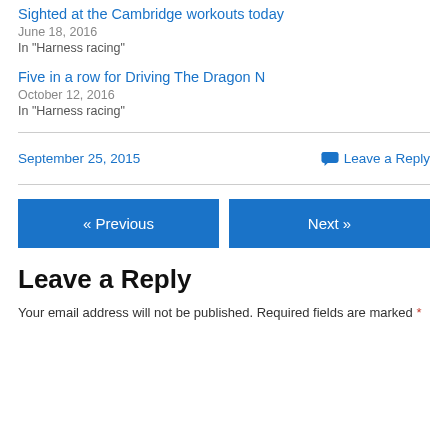Sighted at the Cambridge workouts today
June 18, 2016
In "Harness racing"
Five in a row for Driving The Dragon N
October 12, 2016
In "Harness racing"
September 25, 2015
Leave a Reply
« Previous
Next »
Leave a Reply
Your email address will not be published. Required fields are marked *